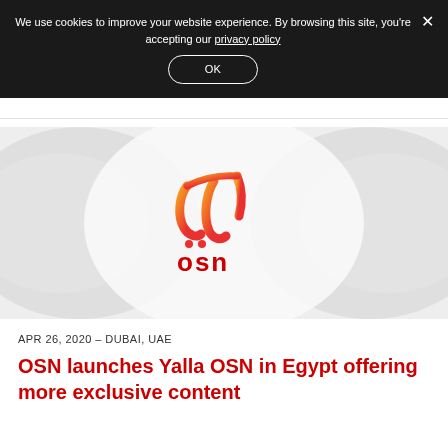We use cookies to improve your website experience. By browsing this site, you're accepting our privacy policy
[Figure (logo): Yalla OSN logo — Arabic text above with gradient orange-to-red colors, 'osn' text in red below, on a light gray background with decorative curved shapes]
APR 26, 2020 – DUBAI, UAE
OSN launches Yalla OSN in Egypt offering more exclusive content